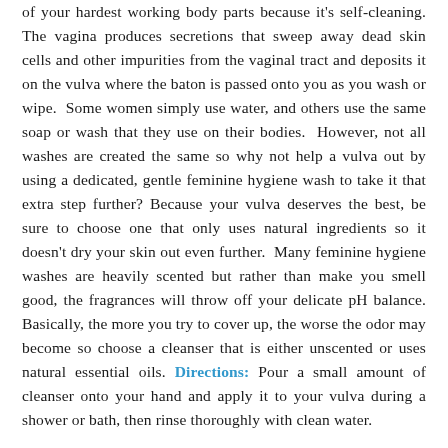of your hardest working body parts because it's self-cleaning. The vagina produces secretions that sweep away dead skin cells and other impurities from the vaginal tract and deposits it on the vulva where the baton is passed onto you as you wash or wipe.  Some women simply use water, and others use the same soap or wash that they use on their bodies.  However, not all washes are created the same so why not help a vulva out by using a dedicated, gentle feminine hygiene wash to take it that extra step further? Because your vulva deserves the best, be sure to choose one that only uses natural ingredients so it doesn't dry your skin out even further.  Many feminine hygiene washes are heavily scented but rather than make you smell good, the fragrances will throw off your delicate pH balance. Basically, the more you try to cover up, the worse the odor may become so choose a cleanser that is either unscented or uses natural essential oils. Directions: Pour a small amount of cleanser onto your hand and apply it to your vulva during a shower or bath, then rinse thoroughly with clean water.